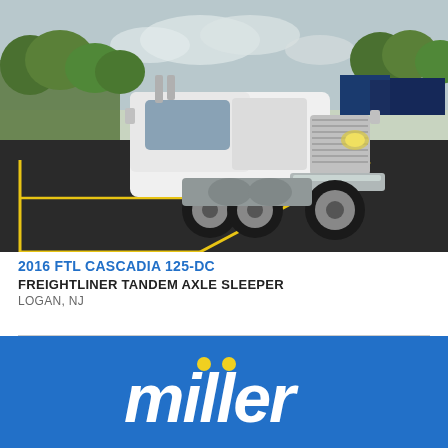[Figure (photo): White 2016 Freightliner Cascadia 125-DC tandem axle sleeper semi-truck parked in a parking lot with yellow line markings on asphalt. Trees and other trucks visible in background.]
2016 FTL CASCADIA 125-DC
FREIGHTLINER TANDEM AXLE SLEEPER
LOGAN, NJ
[Figure (logo): Miller logo in white and yellow text on blue background]